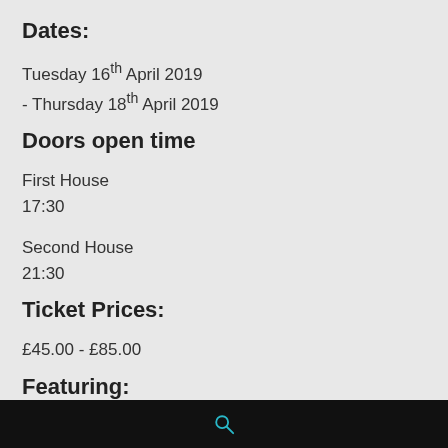Dates:
Tuesday 16th April 2019
- Thursday 18th April 2019
Doors open time
First House
17:30
Second House
21:30
Ticket Prices:
£45.00 - £85.00
Featuring:
🔍